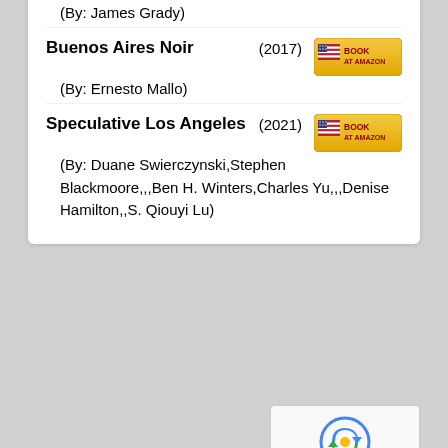(By: James Grady)
Buenos Aires Noir (2017) — (By: Ernesto Mallo)
Speculative Los Angeles (2021) — (By: Duane Swierczynski,Stephen Blackmoore,,,Ben H. Winters,Charles Yu,,,Denise Hamilton,,S. Qiouyi Lu)
[Figure (screenshot): White box area, lower half of page, with reCAPTCHA widget in bottom right corner showing Privacy and Terms text]